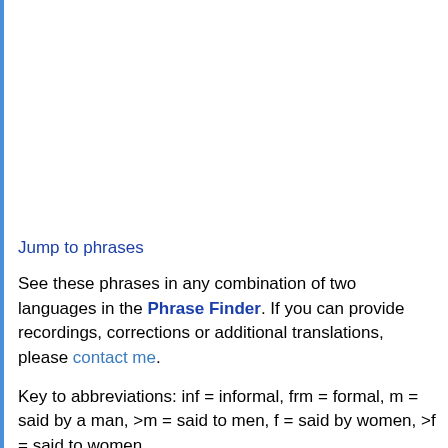Jump to phrases
See these phrases in any combination of two languages in the Phrase Finder. If you can provide recordings, corrections or additional translations, please contact me.
Key to abbreviations: inf = informal, frm = formal, m = said by a man, >m = said to men, f = said by women, >f = said to women.